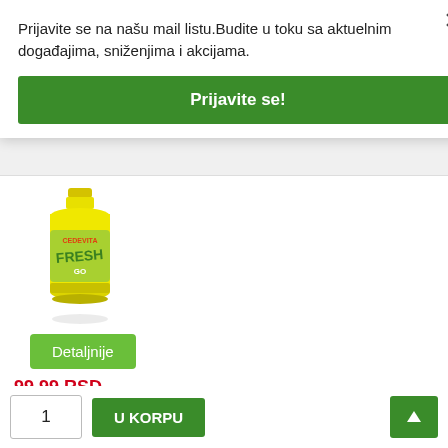Prijavite se na našu mail listu.Budite u toku sa aktuelnim događajima, sniženjima i akcijama.
Prijavite se!
[Figure (photo): Cedevita Go Limun 340ml bottle - yellow/green bottle]
Detaljnije
99,99 RSD
SOK CEDEVITA GO LIMUN 340ML (12) ATLANTIC
1
U KORPU